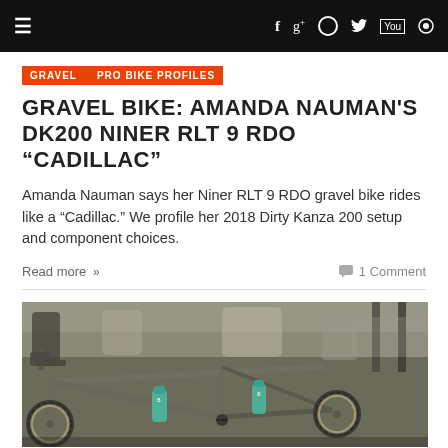≡  f  g+  ○  🐦  You  🔍
GRAVEL | PRO BIKE PROFILES
GRAVEL BIKE: AMANDA NAUMAN'S DK200 NINER RLT 9 RDO "CADILLAC"
Amanda Nauman says her Niner RLT 9 RDO gravel bike rides like a "Cadillac." We profile her 2018 Dirty Kanza 200 setup and component choices.
Read more › 1 Comment
[Figure (photo): Close-up photograph of a gravel bicycle (Niner RLT 9 RDO) with handlebar bag and water bottles in an outdoor event setting]